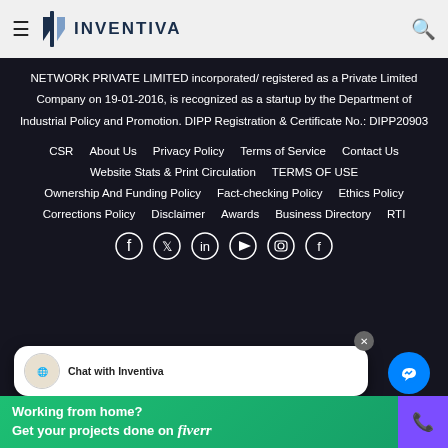Inventiva - #1 News channel For India Under MIB (Ministry of Information & Broadcasting) With Registration Number DELHI/2019/76160. NINE NETWORK PRIVATE LIMITED
[Figure (logo): Inventiva logo with stylized 'I' icon and INVENTIVA text]
NETWORK PRIVATE LIMITED incorporated/ registered as a Private Limited Company on 19-01-2016, is recognized as a startup by the Department of Industrial Policy and Promotion. DIPP Registration & Certificate No.: DIPP20903
CSR
About Us
Privacy Policy
Terms of Service
Contact Us
Website Stats & Print Circulation
TERMS OF USE
Ownership And Funding Policy
Fact-checking Policy
Ethics Policy
Corrections Policy
Disclaimer
Awards
Business Directory
RTI
[Figure (illustration): Social media icons row: Facebook, Twitter/X, LinkedIn, YouTube, Instagram, Facebook]
Chat with Inventiva
Working from home? Get your projects done on fiverr